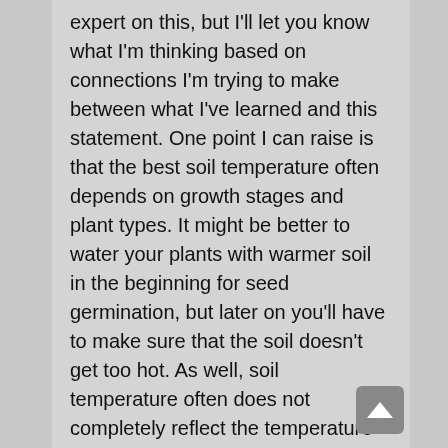expert on this, but I'll let you know what I'm thinking based on connections I'm trying to make between what I've learned and this statement. One point I can raise is that the best soil temperature often depends on growth stages and plant types. It might be better to water your plants with warmer soil in the beginning for seed germination, but later on you'll have to make sure that the soil doesn't get too hot. As well, soil temperature often does not completely reflect the temperature of the air. In fact, each layer of soil will vary in temperature in an unorganized way. Depending on various factors which I won't begin to list here, the soil could be holding in heat or moisture. In short, what I'm suggesting is that even though the temperature outside may be cooler depending on the time of day, it's possible that the temperature of the soil will differ. So...